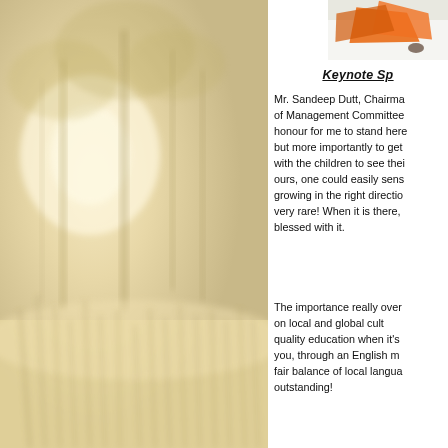[Figure (photo): Misty foggy landscape with trees and tall grass, warm yellowish-white haze, nature outdoor scene]
[Figure (photo): Close-up of orange paper/document items on a white surface, partial view in top right corner]
Keynote Sp
Mr. Sandeep Dutt, Chairma of Management Committee honour for me to stand here but more importantly to get with the children to see thei ours, one could easily sens growing in the right directio very rare! When it is there, blessed with it.
The importance really over on local and global cult quality education when it's you, through an English m fair balance of local langua outstanding!